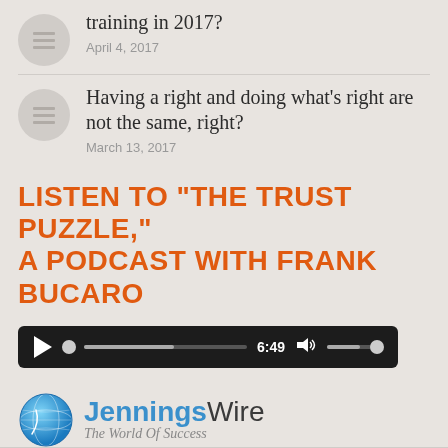training in 2017?
April 4, 2017
Having a right and doing what’s right are not the same, right?
March 13, 2017
LISTEN TO “THE TRUST PUZZLE,” A PODCAST WITH FRANK BUCARO
[Figure (other): Audio player showing time 6:49 with play button, progress bar, volume control on dark background]
[Figure (logo): JenningsWire logo with blue globe icon and tagline The World Of Success]